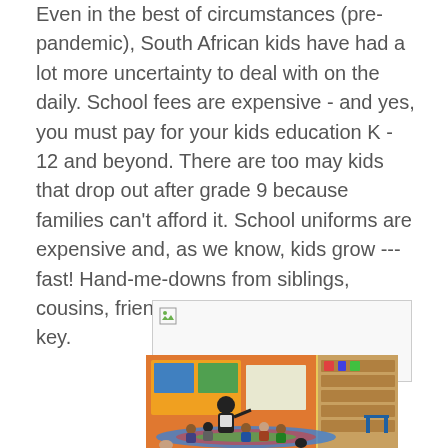Even in the best of circumstances (pre-pandemic), South African kids have had a lot more uncertainty to deal with on the daily. School fees are expensive - and yes, you must pay for your kids education K - 12 and beyond. There are too may kids that drop out after grade 9 because families can't afford it. School uniforms are expensive and, as we know, kids grow --- fast! Hand-me-downs from siblings, cousins, friends, anyone and everyone, is key.
[Figure (photo): A broken/loading image placeholder box at the top, followed by a classroom photo showing a teacher sitting with young students on a colorful rug in a classroom with educational materials on the walls and shelving units.]